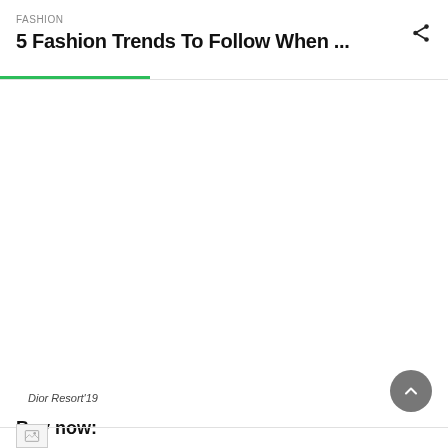FASHION
5 Fashion Trends To Follow When ...
[Figure (photo): Fashion photo area - image not loaded, large white/blank space]
Dior Resort'19
Buy now:
[Figure (photo): Small image thumbnail at bottom, broken/placeholder image icon]